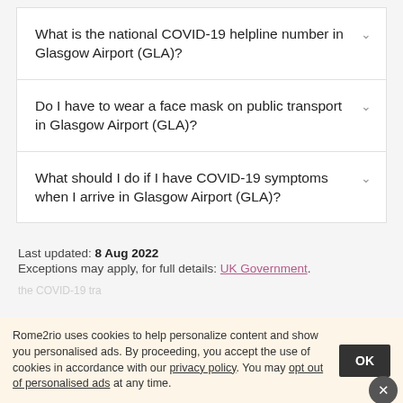What is the national COVID-19 helpline number in Glasgow Airport (GLA)?
Do I have to wear a face mask on public transport in Glasgow Airport (GLA)?
What should I do if I have COVID-19 symptoms when I arrive in Glasgow Airport (GLA)?
Last updated: 8 Aug 2022
Exceptions may apply, for full details: UK Government.
Rome2rio uses cookies to help personalize content and show you personalised ads. By proceeding, you accept the use of cookies in accordance with our privacy policy. You may opt out of personalised ads at any time.